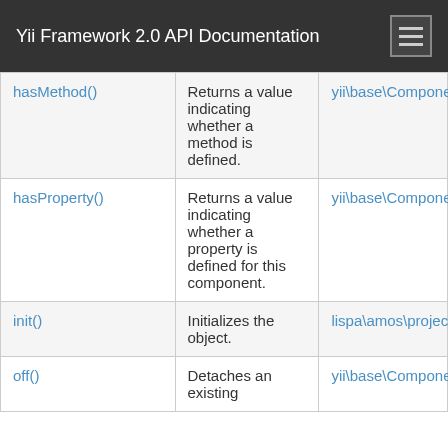Yii Framework 2.0 API Documentation
| hasMethod() | Returns a value indicating whether a method is defined. | yii\base\Component |
| hasProperty() | Returns a value indicating whether a property is defined for this component. | yii\base\Component |
| init() | Initializes the object. | lispa\amos\projectmanag... |
| off() | Detaches an existing... | yii\base\Component |